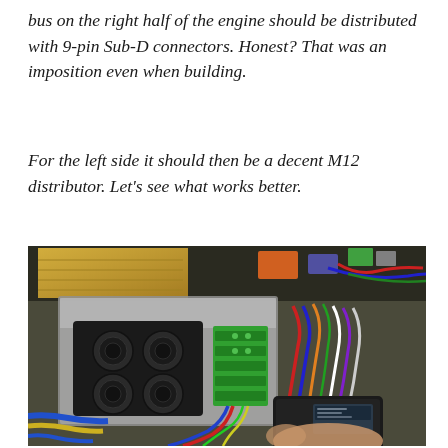bus on the right half of the engine should be distributed with 9-pin Sub-D connectors. Honest? That was an imposition even when building.
For the left side it should then be a decent M12 distributor. Let's see what works better.
[Figure (photo): Photograph showing the interior of an engine compartment or control cabinet. Visible are multiple colored wires (blue, yellow, red, orange, green, purple, white), a metal bracket/enclosure, green terminal blocks, black circular connectors (Sub-D style), and a black electronic module being held by a hand in the foreground.]